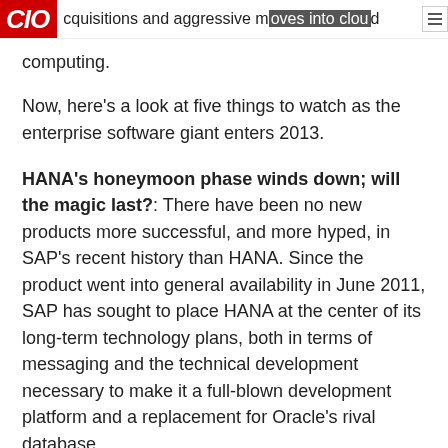CIO | acquisitions and aggressive moves into cloud computing.
Now, here's a look at five things to watch as the enterprise software giant enters 2013.
HANA's honeymoon phase winds down; will the magic last?: There have been no new products more successful, and more hyped, in SAP's recent history than HANA. Since the product went into general availability in June 2011, SAP has sought to place HANA at the center of its long-term technology plans, both in terms of messaging and the technical development necessary to make it a full-blown development platform and a replacement for Oracle's rival database.
There's no question that SAP's HANA hype will continue throughout 2013, but in order for sales to keep rising, SAP